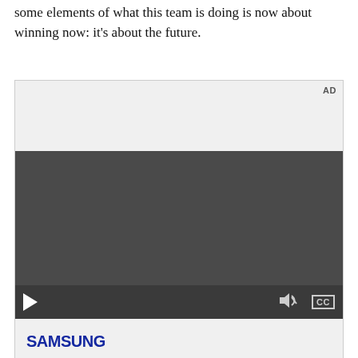some elements of what this team is doing is now about winning now: it's about the future.
[Figure (screenshot): An embedded video player with AD label in top right corner, a dark gray video area, playback controls (play button, volume icon, CC button) at the bottom, and a Samsung advertisement banner at the bottom with the Samsung logo.]